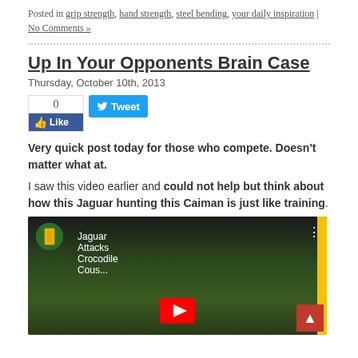Posted in grip strength, hand strength, steel bending, your daily inspiration | No Comments »
Up In Your Opponents Brain Case
Thursday, October 10th, 2013
[Figure (screenshot): Social media buttons: Facebook Like (count 0) and Tweet button]
Very quick post today for those who compete. Doesn't matter what at.
I saw this video earlier and could not help but think about how this Jaguar hunting this Caiman is just like training.
[Figure (screenshot): YouTube video thumbnail showing National Geographic video titled 'Jaguar Attacks Crocodile Cous...' with play button, yellow stripe on right, trees in background]